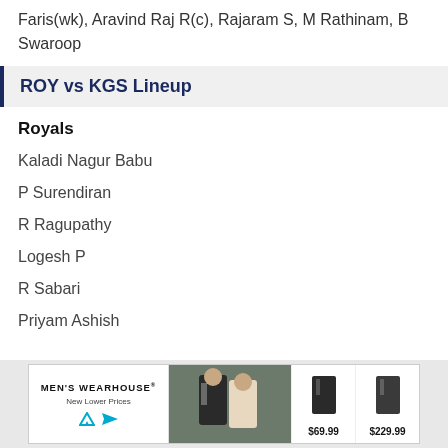Faris(wk), Aravind Raj R(c), Rajaram S, M Rathinam, B Swaroop
ROY vs KGS Lineup
Royals
Kaladi Nagur Babu
P Surendiran
R Ragupathy
Logesh P
R Sabari
Priyam Ashish
[Figure (other): Men's Wearhouse advertisement banner showing suits priced at $69.99 and $229.99]